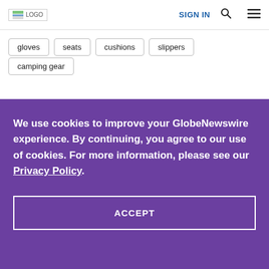LOGO | SIGN IN | Search | Menu
gloves
seats
cushions
slippers
camping gear
We use cookies to improve your GlobeNewswire experience. By continuing, you agree to our use of cookies. For more information, please see our Privacy Policy.
ACCEPT